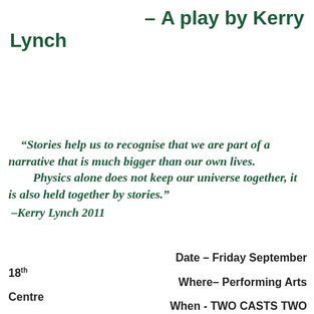– A play by Kerry Lynch
“Stories help us to recognise that we are part of a narrative that is much bigger than our own lives. Physics alone does not keep our universe together, it is also held together by stories.” –Kerry Lynch 2011
Date – Friday September 18th
Where– Performing Arts Centre
When - TWO CASTS TWO SHOWS  4.30PM and 7PM